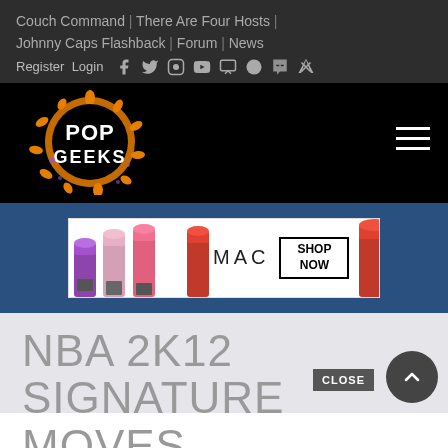Couch Command | There Are Four Hosts | Johnny Caps Flashback | Forum | News
Register Login
[Figure (logo): Pop Geeks logo — circular orange splatter with white text POP GEEKS on black background]
[Figure (screenshot): MAC cosmetics advertisement banner showing lipsticks in purple, pink, red and MAC SHOP NOW call to action]
NBA 2K12 SIGNATURE MOVES